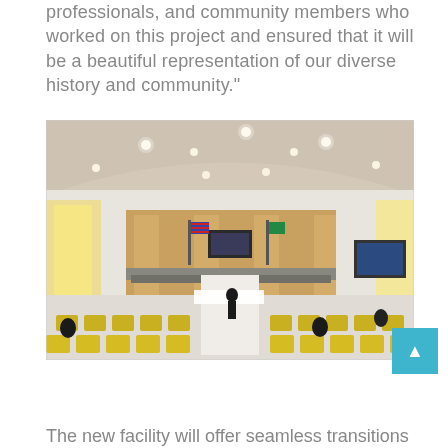professionals, and community members who worked on this project and ensured that it will be a beautiful representation of our diverse history and community."
[Figure (photo): Architectural rendering of a modern government council chamber/meeting hall with arched ceiling, recessed lighting, yellow/gold chairs arranged in rows for public seating, a curved dais at the front with American and Washington state flags, wood panel walls, and large windows on the sides.]
The new facility will offer seamless transitions